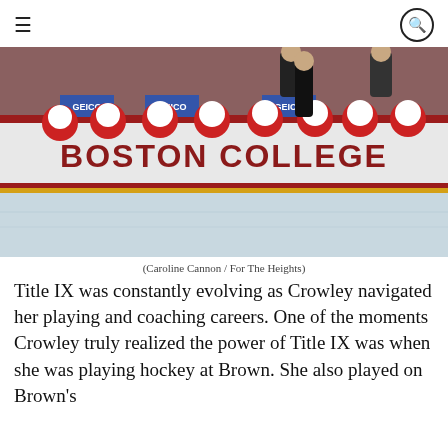≡  🔍
[Figure (photo): Boston College women's hockey players on the bench at the boards with 'BOSTON COLLEGE' text visible on the dasher boards. Players are wearing white helmets and maroon jerseys. Coaches stand behind. GEICO sponsorship banners visible.]
(Caroline Cannon / For The Heights)
Title IX was constantly evolving as Crowley navigated her playing and coaching careers. One of the moments Crowley truly realized the power of Title IX was when she was playing hockey at Brown. She also played on Brown's